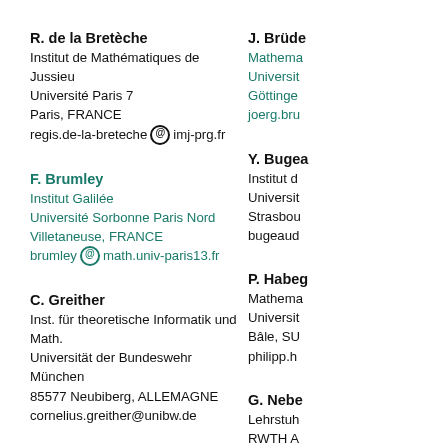R. de la Bretèche
Institut de Mathématiques de Jussieu
Université Paris 7
Paris, FRANCE
regis.de-la-breteche @ imj-prg.fr
J. Brüde...
Mathema...
Universit...
Göttinge...
joerg.bru...
F. Brumley
Institut Galilée
Université Sorbonne Paris Nord
Villetaneuse, FRANCE
brumley @ math.univ-paris13.fr
Y. Bugea...
Institut d...
Universit...
Strasbou...
bugeaud...
C. Greither
Inst. für theoretische Informatik und Math.
Universität der Bundeswehr München
85577 Neubiberg, ALLEMAGNE
cornelius.greither@unibw.de
P. Habeg...
Mathema...
Universit...
Bâle, SU...
philipp.h...
J. Klüners
Mathematisches Institut
der Universität Paderborn
G. Nebe...
Lehrstuh...
RWTH A...